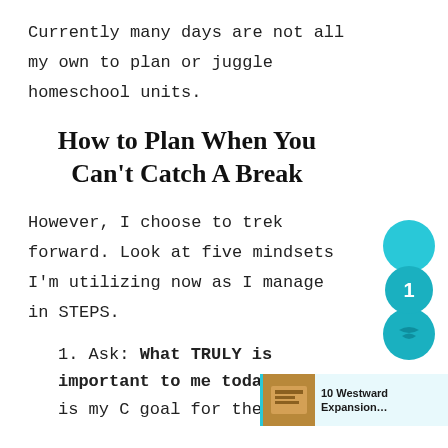Currently many days are not all my own to plan or juggle homeschool units.
How to Plan When You Can't Catch A Break
However, I choose to trek forward. Look at five mindsets I'm utilizing now as I manage in STEPS.
1. Ask: What TRULY is important to me today? That is my C goal for the day.